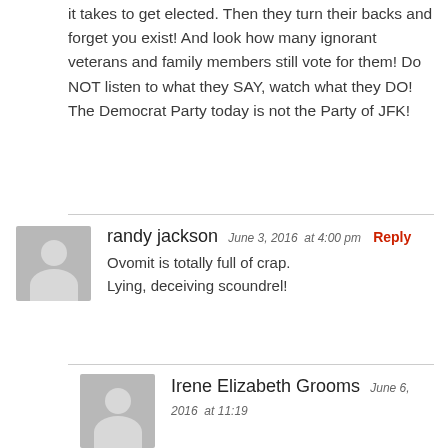it takes to get elected. Then they turn their backs and forget you exist! And look how many ignorant veterans and family members still vote for them! Do NOT listen to what they SAY, watch what they DO! The Democrat Party today is not the Party of JFK!
randy jackson  June 3, 2016  at 4:00 pm  Reply
Ovomit is totally full of crap.
Lying, deceiving scoundrel!
Irene Elizabeth Grooms  June 6, 2016  at 11:19 am  Reply
Obama will get his reward one day cause GOD will judge him.
ItsJo  June 3, 2016  at 4:53 pm  Reply